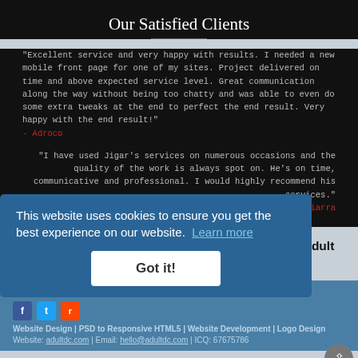Our Satisfied Clients
"Excellent service and very happy with results. I needed a new mobile front page for one of my sites. Project delivered on time and above expected service level. Great communication along the way without being too chatty and was able to even do some extra tweaks at the end to perfect the end result. Very happy with the end result!"
- Adroco
"I have used Jigar's services on numerous occasions and the quality of the work is always spot on. He's on time, communicative and professional. I would highly recommend his services."
- Mark Tiarra
Let me know if you have any requirement related to Adult Website Design or PSD to Responsive HTML5.
Order on: hello@adultdc.com or visit our portfolio adultdc.com
Website Design | PSD to Responsive HTML5 | Website Development | Logo Design
Website: adultdc.com | Email: hello@adultdc.com | ICQ: 67675786
This website uses cookies to ensure you get the best experience on our website. Learn more
Got it!
jiquideveloper